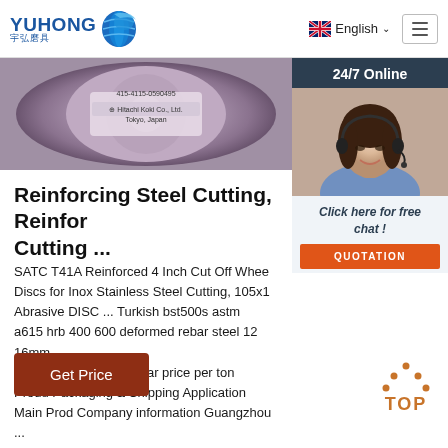[Figure (logo): Yuhong brand logo with blue globe icon and Chinese text 宇弘磨具]
English ∨
[Figure (photo): Close-up photo of a grinding/cutting disc labeled Hitachi Koki Co., Ltd. Tokyo, Japan]
[Figure (photo): 24/7 Online customer service representative with headset]
Reinforcing Steel Cutting, Reinfor Cutting ...
SATC T41A Reinforced 4 Inch Cut Off Whee Discs for Inox Stainless Steel Cutting, 105x1 Abrasive DISC ... Turkish bst500s astm a615 hrb 400 600 deformed rebar steel 12 16mm reinforcement steel rebar price per ton Produ Packaging & Shipping Application Main Prod Company information Guangzhou ...
Click here for free chat !
QUOTATION
Get Price
[Figure (illustration): TOP navigation button with orange dots forming a caret/arrow pointing up above the word TOP in orange]